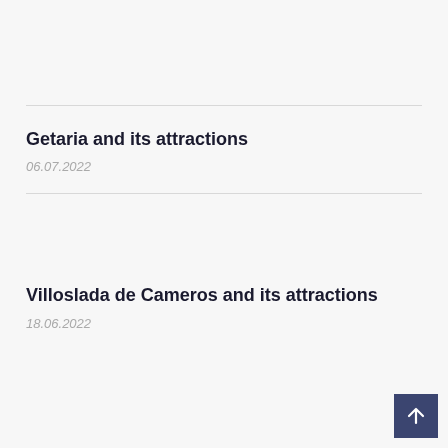Getaria and its attractions
06.07.2022
Villoslada de Cameros and its attractions
18.06.2022